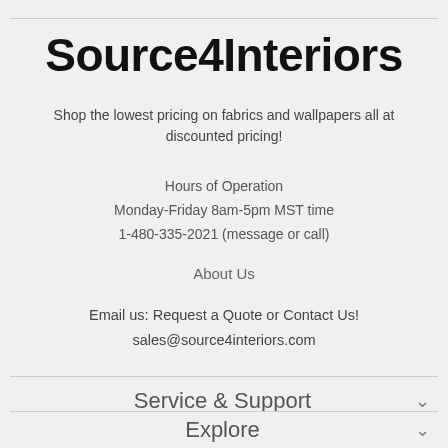Source4Interiors
Shop the lowest pricing on fabrics and wallpapers all at discounted pricing!
Hours of Operation
Monday-Friday 8am-5pm MST time
1-480-335-2021 (message or call)
About Us
Email us: Request a Quote or Contact Us!
sales@source4interiors.com
Service & Support
Explore